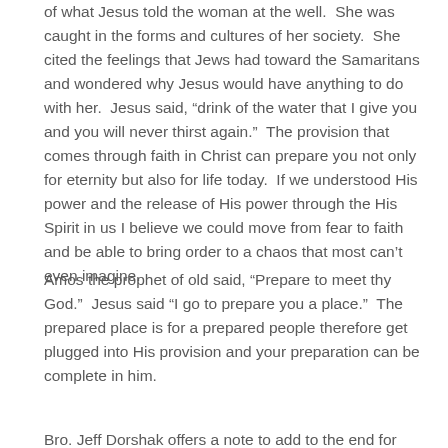of what Jesus told the woman at the well.  She was caught in the forms and cultures of her society.  She cited the feelings that Jews had toward the Samaritans and wondered why Jesus would have anything to do with her.  Jesus said, “drink of the water that I give you and you will never thirst again.”  The provision that comes through faith in Christ can prepare you not only for eternity but also for life today.  If we understood His power and the release of His power through the His Spirit in us I believe we could move from fear to faith and be able to bring order to a chaos that most can’t even imagine.
Amos the prophet of old said, “Prepare to meet thy God.”  Jesus said “I go to prepare you a place.”  The prepared place is for a prepared people therefore get plugged into His provision and your preparation can be complete in him.
Bro. Jeff Dorshak offers a note to add to the end for